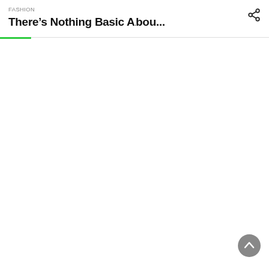FASHION
There’s Nothing Basic Abou...
[Figure (other): Share icon (network share symbol) in top right corner]
[Figure (other): Back to top button: circular grey button with upward chevron arrow in bottom right corner]